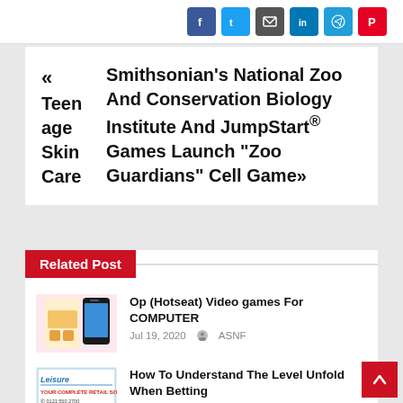[Figure (other): Social sharing icons bar: Facebook (blue), Twitter (light blue), Email (dark grey), LinkedIn (blue), Telegram (blue), Pinterest (red)]
« Teenage Skin Care   Smithsonian's National Zoo And Conservation Biology Institute And JumpStart® Games Launch "Zoo Guardians" Cell Game»
Related Post
Op (Hotseat) Video games For COMPUTER
Jul 19, 2020  ASNF
How To Understand The Level Unfold When Betting